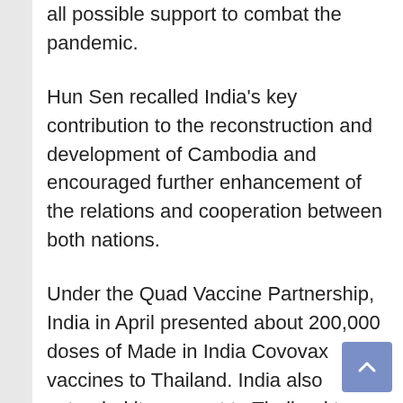all possible support to combat the pandemic.
Hun Sen recalled India's key contribution to the reconstruction and development of Cambodia and encouraged further enhancement of the relations and cooperation between both nations.
Under the Quad Vaccine Partnership, India in April presented about 200,000 doses of Made in India Covovax vaccines to Thailand. India also extended its support to Thailand to help the country fight the war against the pandemic by supplying medicines and oxygen concentrators, read the official statement.
The Quad grouping of countries -India, US, Australia, and Japan- have provided almost